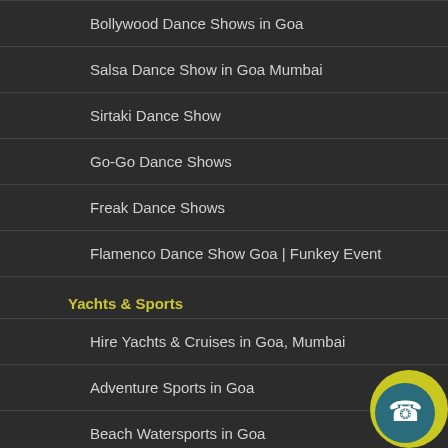Bollywood Dance Shows in Goa
Salsa Dance Show in Goa Mumbai
Sirtaki Dance Show
Go-Go Dance Shows
Freak Dance Shows
Flamenco Dance Show Goa | Funkey Event
Yachts & Sports
Hire Yachts & Cruises in Goa, Mumbai
Adventure Sports in Goa
Beach Watersports in Goa
[Figure (illustration): Yellow and teal circular phone/call button icon in the bottom-right corner]